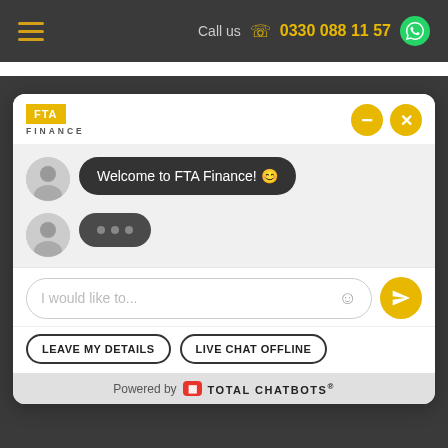Call us 0330 088 11 57
[Figure (screenshot): FTA Finance chatbot widget showing welcome message 'Welcome to FTA Finance! 😊', a typing indicator bubble, an input field with placeholder 'I would like to...', action buttons 'LEAVE MY DETAILS' and 'LIVE CHAT OFFLINE', and a 'Powered by TOTAL CHATBOTS' footer.]